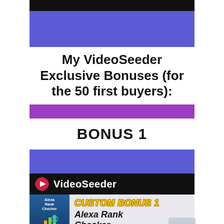My VideoSeeder Exclusive Bonuses (for the 50 first buyers):
BONUS 1
[Figure (screenshot): VideoSeeder Custom Bonus 1 promotional image showing Alexa Rank Checker product, with VideoSeeder logo at top, product box on left, and text 'CUSTOM BONUS 1 Alexa Rank Checker' on right. Footer reads 'BY STEF GRANDGI'.]